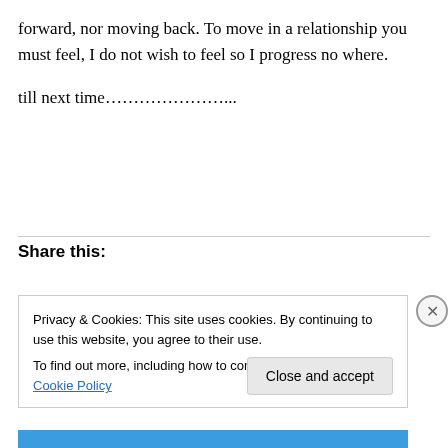forward, nor moving back. To move in a relationship you must feel, I do not wish to feel so I progress no where.
till next time…………………...
Share this:
Privacy & Cookies: This site uses cookies. By continuing to use this website, you agree to their use. To find out more, including how to control cookies, see here: Cookie Policy